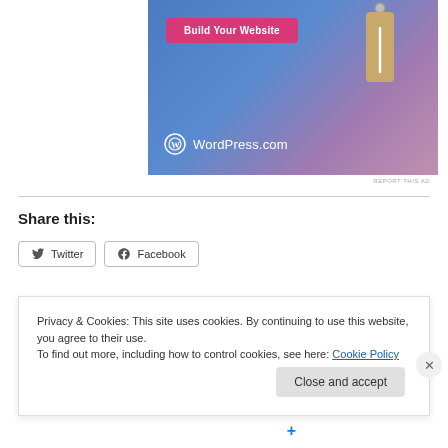[Figure (screenshot): WordPress.com advertisement banner with blue-pink gradient background, 'Build Your Website' pink button, price tag graphic, and WordPress.com logo]
REPORT THIS AD
Share this:
Twitter  Facebook
Privacy & Cookies: This site uses cookies. By continuing to use this website, you agree to their use.
To find out more, including how to control cookies, see here: Cookie Policy
Close and accept